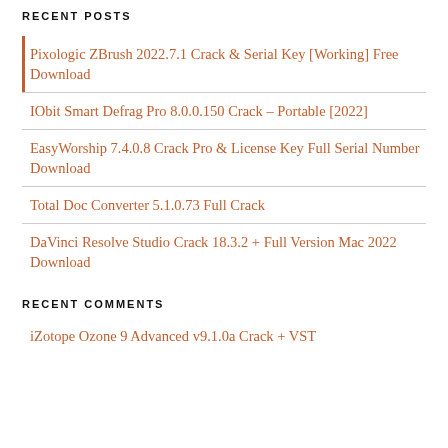RECENT POSTS
Pixologic ZBrush 2022.7.1 Crack & Serial Key [Working] Free Download
IObit Smart Defrag Pro 8.0.0.150 Crack – Portable [2022]
EasyWorship 7.4.0.8 Crack Pro & License Key Full Serial Number Download
Total Doc Converter 5.1.0.73 Full Crack
DaVinci Resolve Studio Crack 18.3.2 + Full Version Mac 2022 Download
RECENT COMMENTS
iZotope Ozone 9 Advanced v9.1.0a Crack + VST